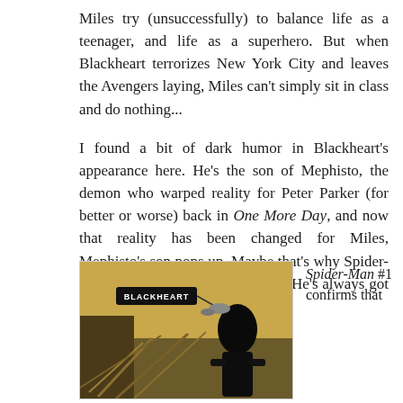Miles try (unsuccessfully) to balance life as a teenager, and life as a superhero. But when Blackheart terrorizes New York City and leaves the Avengers laying, Miles can't simply sit in class and do nothing...
I found a bit of dark humor in Blackheart's appearance here. He's the son of Mephisto, the demon who warped reality for Peter Parker (for better or worse) back in One More Day, and now that reality has been changed for Miles, Mephisto's son pops up. Maybe that's why Spider-Man has such notorious bad luck. He's always got the devil watching him.
[Figure (illustration): Comic book panel showing Blackheart, a dark demonic figure, emerging from debris. A speech bubble tag reads 'BLACKHEART' with an arrow pointing to the character.]
Spider-Man #1 confirms that